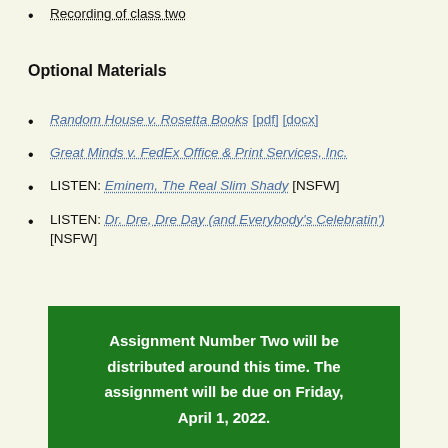Recording of class two
Optional Materials
Random House v. Rosetta Books [pdf] [docx]
Great Minds v. FedEx Office & Print Services, Inc.
LISTEN: Eminem, The Real Slim Shady [NSFW]
LISTEN: Dr. Dre, Dre Day (and Everybody's Celebratin') [NSFW]
Assignment Number Two will be distributed around this time. The assignment will be due on Friday, April 1, 2022.